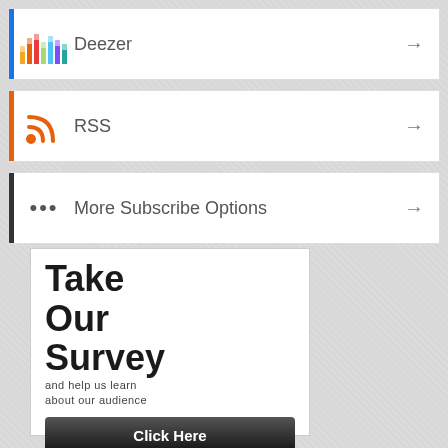Deezer →
RSS →
More Subscribe Options →
[Figure (infographic): Take Our Survey advertisement box with headline, subtext 'and help us learn about our audience', and a 'Click Here' button]